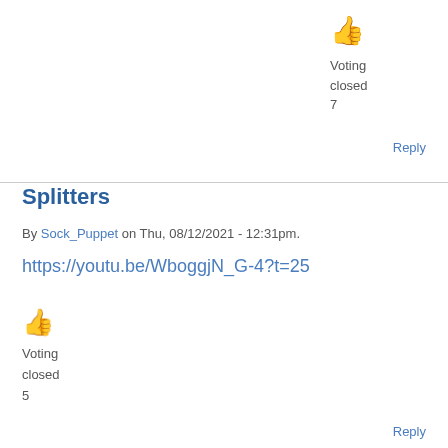👍 Voting closed 7
Reply
Splitters
By Sock_Puppet on Thu, 08/12/2021 - 12:31pm.
https://youtu.be/WboggjN_G-4?t=25
👍 Voting closed 5
Reply
funny headline